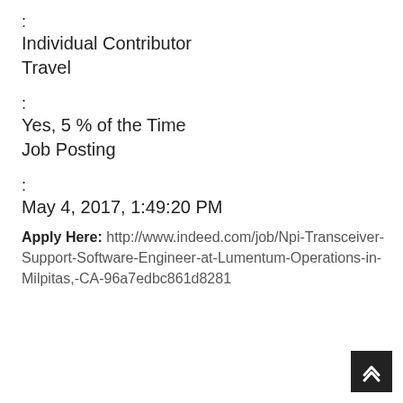:
Individual Contributor
Travel
:
Yes, 5 % of the Time
Job Posting
:
May 4, 2017, 1:49:20 PM
Apply Here: http://www.indeed.com/job/Npi-Transceiver-Support-Software-Engineer-at-Lumentum-Operations-in-Milpitas,-CA-96a7edbc861d8281